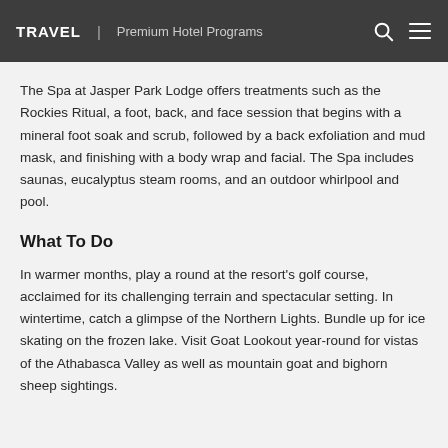TRAVEL | Premium Hotel Programs
The Spa at Jasper Park Lodge offers treatments such as the Rockies Ritual, a foot, back, and face session that begins with a mineral foot soak and scrub, followed by a back exfoliation and mud mask, and finishing with a body wrap and facial. The Spa includes saunas, eucalyptus steam rooms, and an outdoor whirlpool and pool.
What To Do
In warmer months, play a round at the resort's golf course, acclaimed for its challenging terrain and spectacular setting. In wintertime, catch a glimpse of the Northern Lights. Bundle up for ice skating on the frozen lake. Visit Goat Lookout year-round for vistas of the Athabasca Valley as well as mountain goat and bighorn sheep sightings.